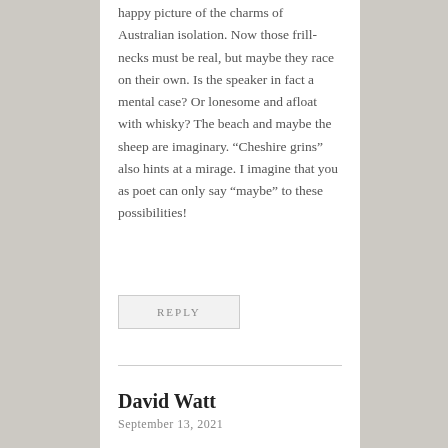happy picture of the charms of Australian isolation. Now those frill-necks must be real, but maybe they race on their own. Is the speaker in fact a mental case? Or lonesome and afloat with whisky? The beach and maybe the sheep are imaginary. “Cheshire grins” also hints at a mirage. I imagine that you as poet can only say “maybe” to these possibilities!
REPLY
David Watt
September 13, 2021